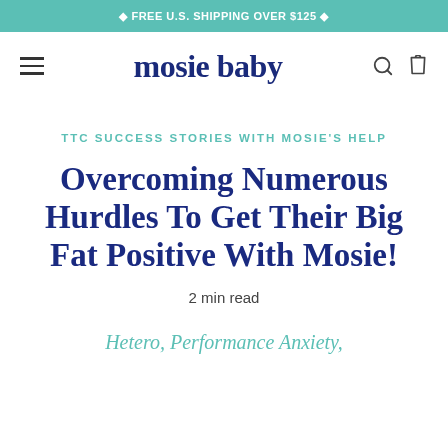✦ FREE U.S. SHIPPING OVER $125 ✦
[Figure (logo): Mosie Baby logo with hamburger menu, search icon, and bag icon in navigation bar]
TTC SUCCESS STORIES WITH MOSIE'S HELP
Overcoming Numerous Hurdles To Get Their Big Fat Positive With Mosie!
2 min read
Hetero, Performance Anxiety,